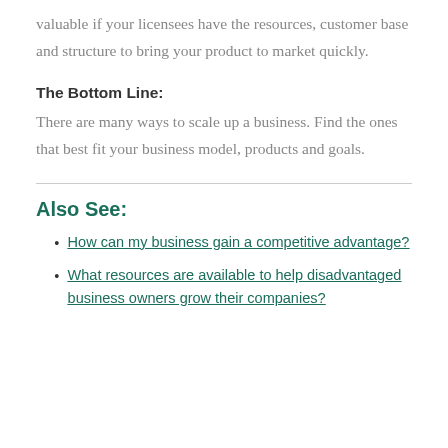valuable if your licensees have the resources, customer base and structure to bring your product to market quickly.
The Bottom Line:
There are many ways to scale up a business. Find the ones that best fit your business model, products and goals.
Also See:
How can my business gain a competitive advantage?
What resources are available to help disadvantaged business owners grow their companies?